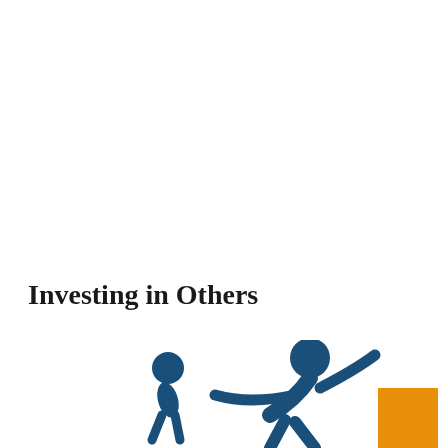Investing in Others
[Figure (illustration): Stylized icon of an adult figure (dark blue) bending over to help a child figure (dark blue), with an orange rectangle to the right, representing investing in others / community support theme]